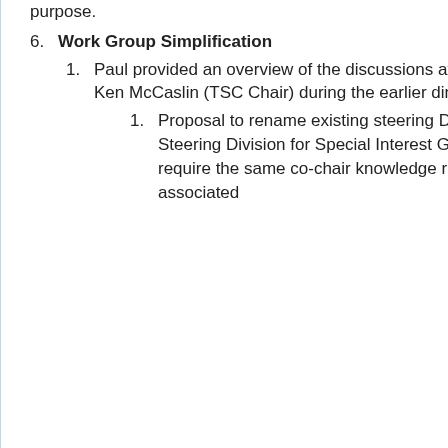purpose.
6. Work Group Simplification
1. Paul provided an overview of the discussions at the TSC, and as outlined by Ken McCaslin (TSC Chair) during the earlier dinner meeting, which include:
1. Proposal to rename existing steering Divisions and add a new Steering Division for Special Interest Groups which would not require the same co-chair knowledge regarding balloting and associated